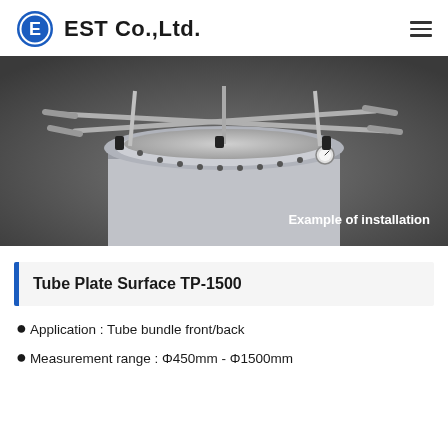EST Co.,Ltd.
[Figure (photo): Industrial tube plate surface measurement device TP-1500 installed on a large cylindrical vessel. Multiple cross-bar arms extend outward from a circular flange. A dial gauge is visible on the right side. Caption overlay reads 'Example of installation'.]
Tube Plate Surface TP-1500
Application : Tube bundle front/back
Measurement range : Φ450mm - Φ1500mm